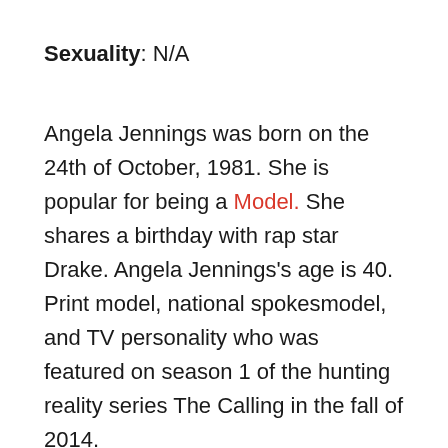Sexuality: N/A
Angela Jennings was born on the 24th of October, 1981. She is popular for being a Model. She shares a birthday with rap star Drake. Angela Jennings's age is 40. Print model, national spokesmodel, and TV personality who was featured on season 1 of the hunting reality series The Calling in the fall of 2014.
The 40-year-old model was born in Johnson City. She played the flute in band in high school and was also a soccer player. After